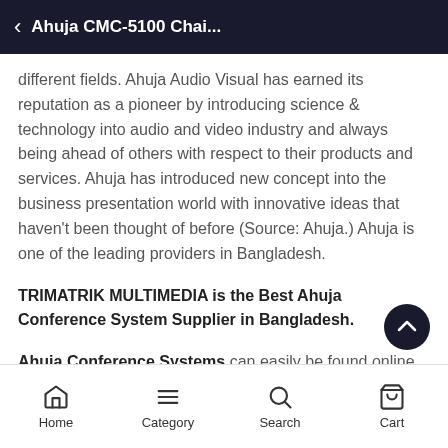Ahuja CMC-5100 Chai...
different fields. Ahuja Audio Visual has earned its reputation as a pioneer by introducing science & technology into audio and video industry and always being ahead of others with respect to their products and services. Ahuja has introduced new concept into the business presentation world with innovative ideas that haven't been thought of before (Source: Ahuja.) Ahuja is one of the leading providers in Bangladesh.
TRIMATRIK MULTIMEDIA is the Best Ahuja Conference System Supplier in Bangladesh.
Ahuja Conference Systems can easily be found online
Home  Category  Search  Cart